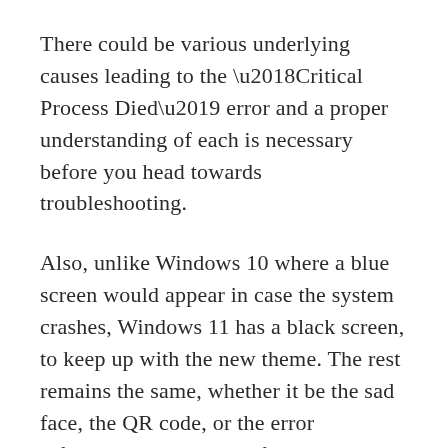There could be various underlying causes leading to the ‘Critical Process Died’ error and a proper understanding of each is necessary before you head towards troubleshooting.
Also, unlike Windows 10 where a blue screen would appear in case the system crashes, Windows 11 has a black screen, to keep up with the new theme. The rest remains the same, whether it be the sad face, the QR code, or the error information, you would find them all.